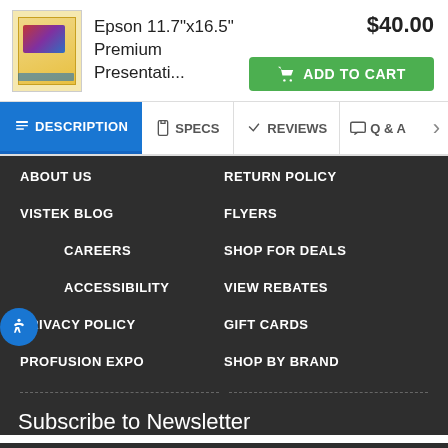[Figure (screenshot): Product listing card showing Epson 11.7"x16.5" Premium Presentation paper with product image, price $40.00, and Add to Cart button]
Epson 11.7"x16.5" Premium Presentati...
$40.00
ADD TO CART
DESCRIPTION
SPECS
REVIEWS
Q & A
ABOUT US
RETURN POLICY
VISTEK BLOG
FLYERS
CAREERS
SHOP FOR DEALS
ACCESSIBILITY
VIEW REBATES
PRIVACY POLICY
GIFT CARDS
PROFUSION EXPO
SHOP BY BRAND
Subscribe to Newsletter
Stay on top of the latest Product Launches, Hot Sales, Fun Contests, Free Workshops and events with our weekly newsletter. Read more